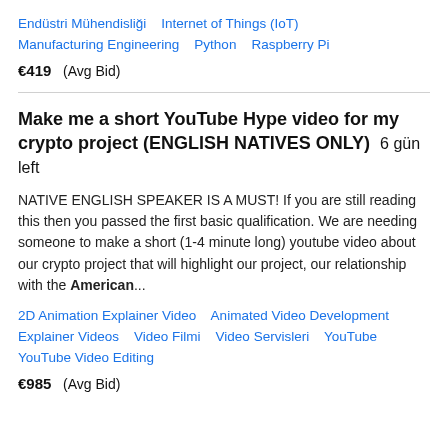Endüstri Mühendisliği   Internet of Things (IoT)   Manufacturing Engineering   Python   Raspberry Pi
€419  (Avg Bid)
Make me a short YouTube Hype video for my crypto project (ENGLISH NATIVES ONLY)  6 gün left
NATIVE ENGLISH SPEAKER IS A MUST! If you are still reading this then you passed the first basic qualification. We are needing someone to make a short (1-4 minute long) youtube video about our crypto project that will highlight our project, our relationship with the American...
2D Animation Explainer Video   Animated Video Development   Explainer Videos   Video Filmi   Video Servisleri   YouTube   YouTube Video Editing
€985  (Avg Bid)